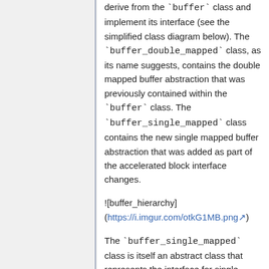derive from the `buffer` class and implement its interface (see the simplified class diagram below). The `buffer_double_mapped` class, as its name suggests, contains the double mapped buffer abstraction that was previously contained within the `buffer` class. The `buffer_single_mapped` class contains the new single mapped buffer abstraction that was added as part of the accelerated block interface changes.
![buffer_hierarchy](https://i.imgur.com/otkG1MB.png)
The `buffer_single_mapped` class is itself an abstract class that represents the interface for single mapped buffers. In the diagram above the interface functions are listed in the gray box. Functions that are pure virtual, that is functions that must be overridden, are